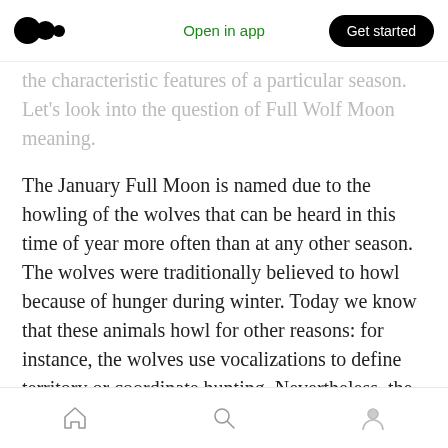Open in app  Get started
the characteristic features of a particular season. Let’s look into the question of Full Wolf Moon meaning.
The January Full Moon is named due to the howling of the wolves that can be heard in this time of year more often than at any other season. The wolves were traditionally believed to howl because of hunger during winter. Today we know that these animals howl for other reasons: for instance, the wolves use vocalizations to define territory or coordinate hunting. Nevertheless, the name stuck, and now we continue to call the
Home  Search  Profile